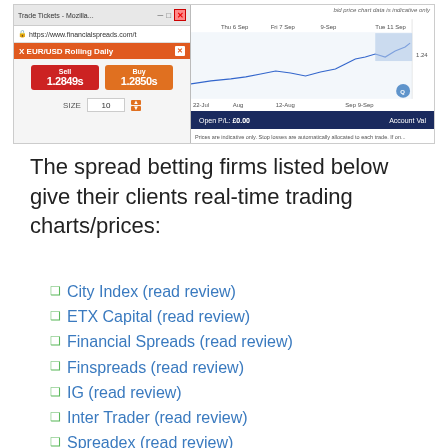[Figure (screenshot): Screenshot of Financial Spreads trading platform showing EUR/USD Rolling Daily trade ticket with Sell 1.2849s and Buy 1.2850s prices, size 10, and a price chart with dates from Jul to Sep]
The spread betting firms listed below give their clients real-time trading charts/prices:
City Index (read review)
ETX Capital (read review)
Financial Spreads (read review)
Finspreads (read review)
IG (read review)
Inter Trader (read review)
Spreadex (read review)